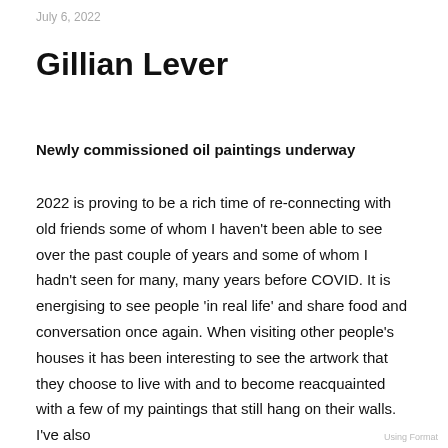July 6, 2022
Gillian Lever
Newly commissioned oil paintings underway
2022 is proving to be a rich time of re-connecting with old friends some of whom I haven't been able to see over the past couple of years and some of whom I hadn't seen for many, many years before COVID. It is energising to see people 'in real life' and share food and conversation once again. When visiting other people's houses it has been interesting to see the artwork that they choose to live with and to become reacquainted with a few of my paintings that still hang on their walls. I've also
Using Format